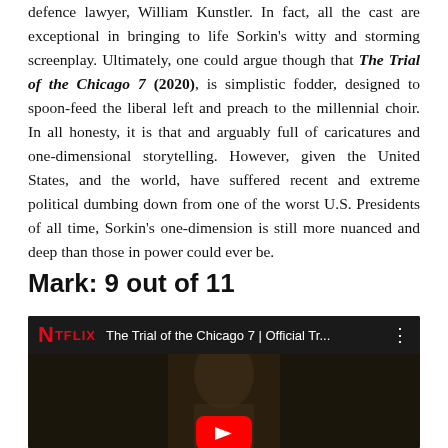defence lawyer, William Kunstler. In fact, all the cast are exceptional in bringing to life Sorkin's witty and storming screenplay. Ultimately, one could argue though that The Trial of the Chicago 7 (2020), is simplistic fodder, designed to spoon-feed the liberal left and preach to the millennial choir. In all honesty, it is that and arguably full of caricatures and one-dimensional storytelling. However, given the United States, and the world, have suffered recent and extreme political dumbing down from one of the worst U.S. Presidents of all time, Sorkin's one-dimension is still more nuanced and deep than those in power could ever be.
Mark: 9 out of 11
[Figure (screenshot): YouTube video thumbnail for 'The Trial of the Chicago 7 | Official Tr...' featuring the Netflix logo in red, a dark background with a man's face visible, and a red YouTube play button at the bottom.]